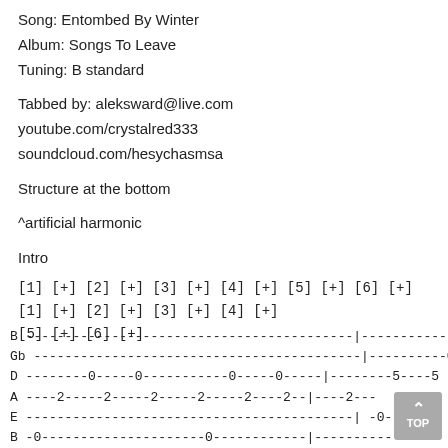Song: Entombed By Winter
Album: Songs To Leave
Tuning: B standard
Tabbed by: aleksward@live.com
youtube.com/crystalred333
soundcloud.com/hesychasmsa
Structure at the bottom
^artificial harmonic
Intro
[1] [+] [2] [+] [3] [+] [4] [+] [5] [+] [6] [+] [1] [+] [2] [+] [3] [+] [4] [+]
[5] [+] [6] [+]
[Figure (other): Guitar tablature showing strings B, Gb, D, A, E, B with fret numbers and dashes]